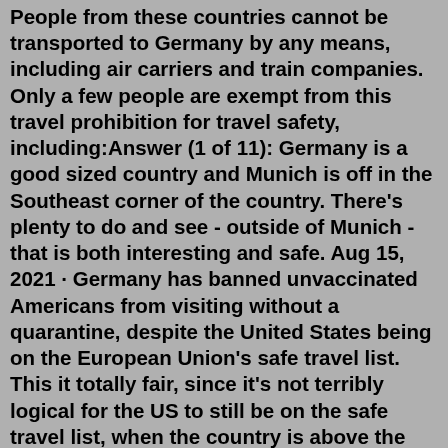People from these countries cannot be transported to Germany by any means, including air carriers and train companies. Only a few people are exempt from this travel prohibition for travel safety, including:Answer (1 of 11): Germany is a good sized country and Munich is off in the Southeast corner of the country. There's plenty to do and see - outside of Munich - that is both interesting and safe. Aug 15, 2021 · Germany has banned unvaccinated Americans from visiting without a quarantine, despite the United States being on the European Union's safe travel list. This it totally fair, since it's not terribly logical for the US to still be on the safe travel list, when the country is above the published threshold. Nov 24, 2020 · In general, most European countries are safe to visit, although the State Department warns to "exercise increased caution" for many of them due to terrorist threats. As of November 23, 2020, the only country in Europe with the highest level "Do Not Travel" warning is Russia, due to COVID-19. Virtually every other country on the continent has a ... The crime